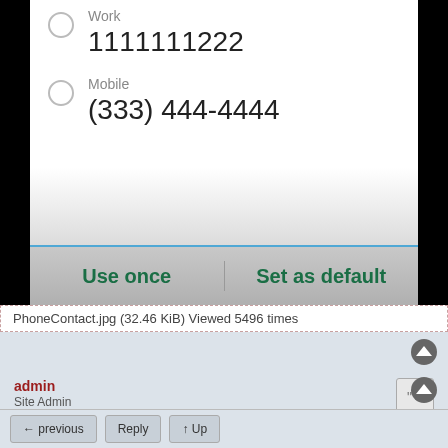[Figure (screenshot): Android phone dialog showing contact phone number selection with Work number 1111111222 and Mobile number (333) 444-4444, with 'Use once' and 'Set as default' buttons at the bottom]
PhoneContact.jpg (32.46 KiB) Viewed 5496 times
admin
Site Admin
Re: Contacts display incomplete data
Fri Feb 26, 2021 11:12 am
Thanks very much! Working on it.